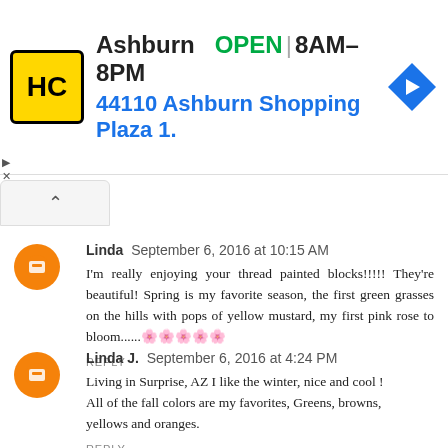[Figure (other): Advertisement banner: HC logo (yellow/black), Ashburn OPEN 8AM-8PM, 44110 Ashburn Shopping Plaza 1., blue navigation arrow icon]
Linda  September 6, 2016 at 10:15 AM
I'm really enjoying your thread painted blocks!!!!!  They're beautiful! Spring is my favorite season, the first green grasses on the hills with pops of yellow mustard, my first pink rose to bloom......🌸🌸🌸🌸🌸
REPLY
Linda J.  September 6, 2016 at 4:24 PM
Living in Surprise, AZ I like the winter, nice and cool ! All of the fall colors are my favorites, Greens, browns, yellows and oranges.
REPLY